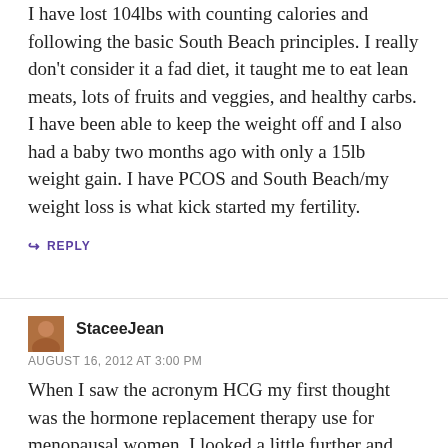I have lost 104lbs with counting calories and following the basic South Beach principles. I really don't consider it a fad diet, it taught me to eat lean meats, lots of fruits and veggies, and healthy carbs. I have been able to keep the weight off and I also had a baby two months ago with only a 15lb weight gain. I have PCOS and South Beach/my weight loss is what kick started my fertility.
↪ REPLY
StaceeJean
AUGUST 16, 2012 AT 3:00 PM
When I saw the acronym HCG my first thought was the hormone replacement therapy use for menopausal women. I looked a little further and found that it is a different formulation but both are derived from the urine of a pregnant mare. When they offered the HRT to me for my beginning stages of menopause I turned it down right